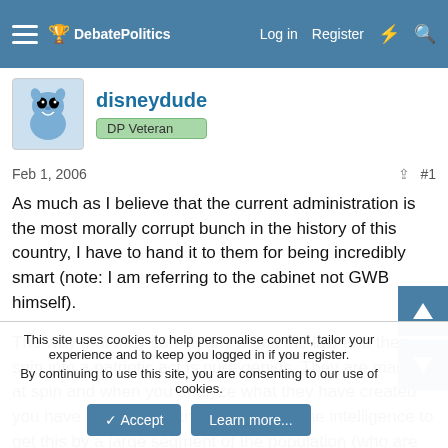DebatePolitics — Log in  Register
disneydude
DP Veteran
Feb 1, 2006  #1
As much as I believe that the current administration is the most morally corrupt bunch in the history of this country, I have to hand it to them for being incredibly smart (note: I am referring to the cabinet not GWB himself).

The way that they can clearly break the law and then spin into a patriotic act is pure genius. They are masters at spin and when you analyze what they have created you have to hand it to them for having the intelligence to get this by a large segment of the population (who are not bothered that their President broke the
This site uses cookies to help personalise content, tailor your experience and to keep you logged in if you register.
By continuing to use this site, you are consenting to our use of cookies.
Accept  Learn more...